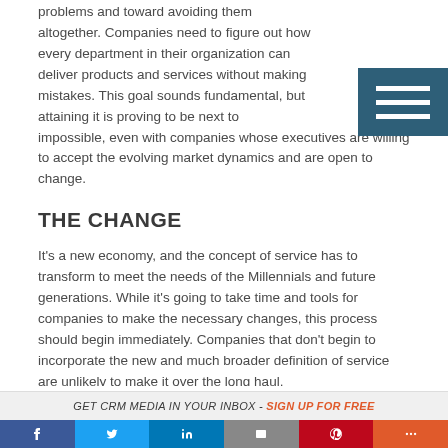problems and toward avoiding them altogether. Companies need to figure out how every department in their organization can deliver products and services without making mistakes. This goal sounds fundamental, but attaining it is proving to be next to impossible, even with companies whose executives are willing to accept the evolving market dynamics and are open to change.
[Figure (other): Hamburger menu icon (three horizontal white lines on dark teal/blue background)]
THE CHANGE
It's a new economy, and the concept of service has to transform to meet the needs of the Millennials and future generations. While it's going to take time and tools for companies to make the necessary changes, this process should begin immediately. Companies that don't begin to incorporate the new and much broader definition of service are unlikely to make it over the long haul.
THE FIX
GET CRM MEDIA IN YOUR INBOX - SIGN UP FOR FREE